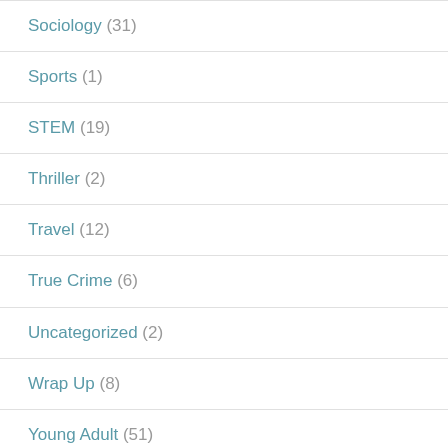Sociology (31)
Sports (1)
STEM (19)
Thriller (2)
Travel (12)
True Crime (6)
Uncategorized (2)
Wrap Up (8)
Young Adult (51)